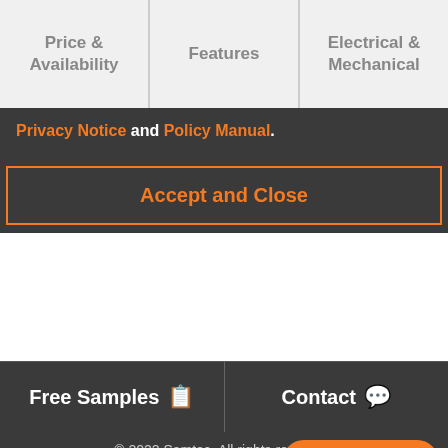Price & Availability | Features | Electrical & Mechanical
Privacy Notice and Policy Manual.
Accept and Close
Free Samples
Contact
© 2022 Samtec. All rights reserved.
View Full Site
Agent Offline